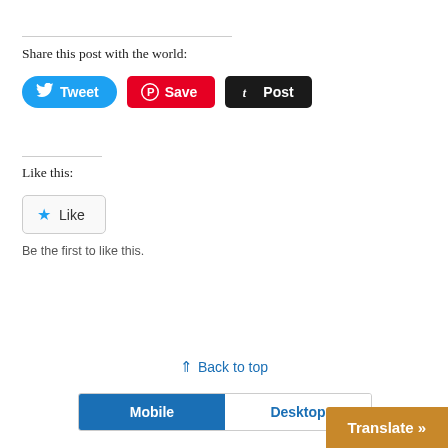Share this post with the world:
[Figure (other): Social share buttons: Tweet (Twitter/blue), Save (Pinterest/red), Post (Tumblr/dark)]
Like this:
[Figure (other): WordPress Like button with star icon]
Be the first to like this.
↑ Back to top
[Figure (other): Mobile/Desktop toggle buttons with Mobile selected (blue) and Desktop unselected]
Translate »